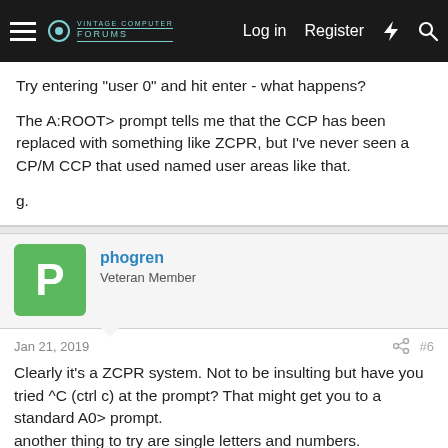Navigation bar with hamburger menu, forum logo, Log in, Register, and search/notification icons
Try entering "user 0" and hit enter - what happens?

The A:ROOT> prompt tells me that the CCP has been replaced with something like ZCPR, but I've never seen a CP/M CCP that used named user areas like that.

g.
phogren
Veteran Member
Jan 21, 2019  #6
Clearly it's a ZCPR system. Not to be insulting but have you tried ^C (ctrl c) at the prompt? That might get you to a standard A0> prompt.
another thing to try are single letters and numbers.
Try some bigger pictures.